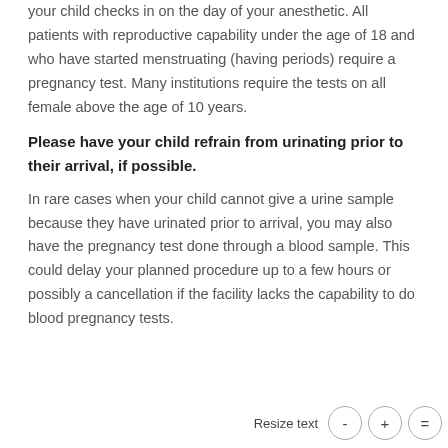your child checks in on the day of your anesthetic. All patients with reproductive capability under the age of 18 and who have started menstruating (having periods) require a pregnancy test. Many institutions require the tests on all female above the age of 10 years.
Please have your child refrain from urinating prior to their arrival, if possible.
In rare cases when your child cannot give a urine sample because they have urinated prior to arrival, you may also have the pregnancy test done through a blood sample. This could delay your planned procedure up to a few hours or possibly a cancellation if the facility lacks the capability to do blood pregnancy tests.